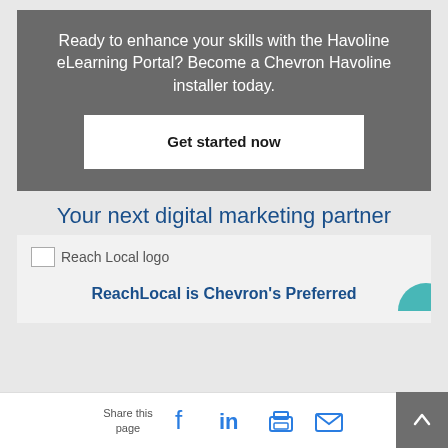Ready to enhance your skills with the Havoline eLearning Portal? Become a Chevron Havoline installer today.
Get started now
Your next digital marketing partner
[Figure (logo): Reach Local logo (broken image placeholder)]
ReachLocal is Chevron's Preferred
Share this page [Facebook] [LinkedIn] [Print] [Email]